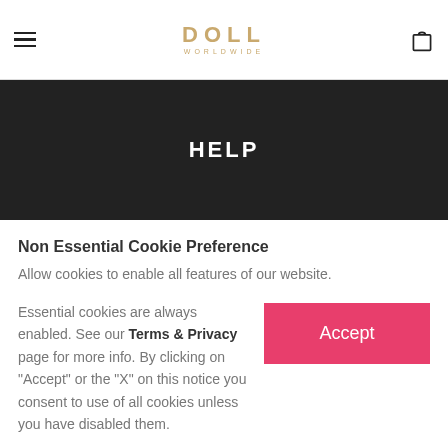DOLL WORLDWIDE
HELP
Non Essential Cookie Preference
Allow cookies to enable all features of our website.
Essential cookies are always enabled. See our Terms & Privacy page for more info. By clicking on "Accept" or the "X" on this notice you consent to use of all cookies unless you have disabled them.